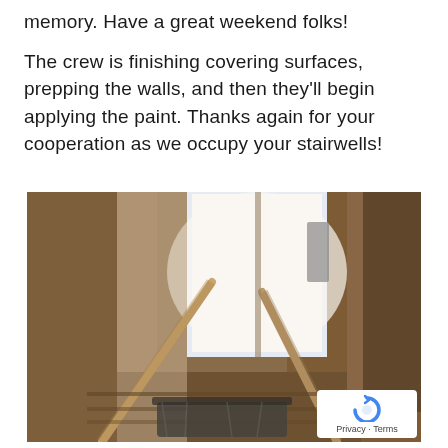memory. Have a great weekend folks!

The crew is finishing covering surfaces, prepping the walls, and then they'll begin applying the paint. Thanks again for your cooperation as we occupy your stairwells!
[Figure (photo): Interior stairwell photo showing stairs going up toward a bright window, with handrails on both sides, walls covered in preparation for painting, and a paint roller/supplies at the bottom center. A Google reCAPTCHA privacy badge appears in the bottom right corner.]